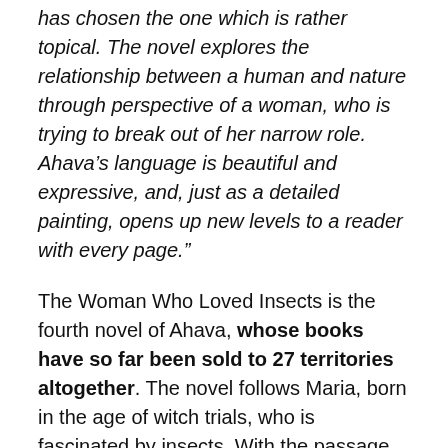has chosen the one which is rather topical. The novel explores the relationship between a human and nature through perspective of a woman, who is trying to break out of her narrow role. Ahava’s language is beautiful and expressive, and, just as a detailed painting, opens up new levels to a reader with every page.”
The Woman Who Loved Insects is the fourth novel of Ahava, whose books have so far been sold to 27 territories altogether. The novel follows Maria, born in the age of witch trials, who is fascinated by insects. With the passage of time from one century to another, she gains voice and authorship, together with the right to ponder the mystery of the origin of life. Just as insects undergo a transformation, so over time Maria changes, going on to live for 370 years.
Ahava was the winner of the EU Prize for Literature in 2015 with her novel Things that Fall from the Sky; it